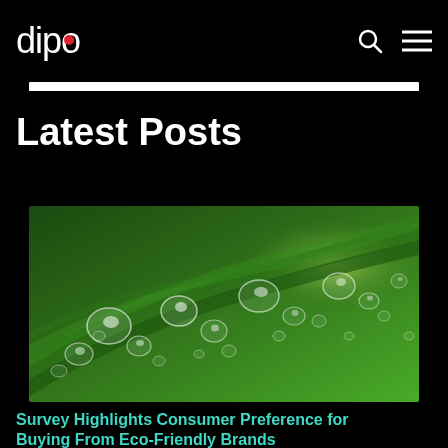dipo
Latest Posts
[Figure (photo): Close-up macro photograph of water droplets on a green leaf]
Survey Highlights Consumer Preference for Buying From Eco-Friendly Brands